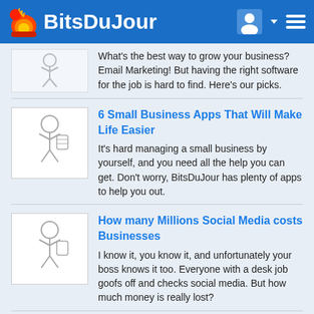BitsDuJour
What's the best way to grow your business? Email Marketing! But having the right software for the job is hard to find. Here's our picks.
[Figure (illustration): Stick figure person with briefcase icon]
6 Small Business Apps That Will Make Life Easier
It's hard managing a small business by yourself, and you need all the help you can get. Don't worry, BitsDuJour has plenty of apps to help you out.
[Figure (illustration): Stick figure person with briefcase icon]
How many Millions Social Media costs Businesses
I know it, you know it, and unfortunately your boss knows it too. Everyone with a desk job goofs off and checks social media. But how much money is really lost?
[Figure (illustration): Small stick figure person with briefcase icon]
How to Monetize your Website with BitCoin or